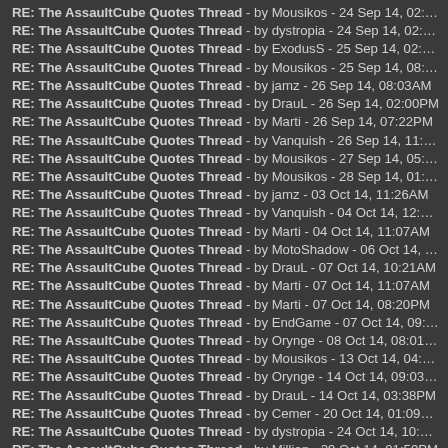RE: The AssaultCube Quotes Thread - by Mousikos - 24 Sep 14, 02:28PM
RE: The AssaultCube Quotes Thread - by dystropia - 24 Sep 14, 02:40PM
RE: The AssaultCube Quotes Thread - by ExodusS - 25 Sep 14, 02:28PM
RE: The AssaultCube Quotes Thread - by Mousikos - 25 Sep 14, 08:41PM
RE: The AssaultCube Quotes Thread - by jamz - 26 Sep 14, 08:03AM
RE: The AssaultCube Quotes Thread - by DrauL - 26 Sep 14, 02:00PM
RE: The AssaultCube Quotes Thread - by Marti - 26 Sep 14, 07:22PM
RE: The AssaultCube Quotes Thread - by Vanquish - 26 Sep 14, 11:51PM
RE: The AssaultCube Quotes Thread - by Mousikos - 27 Sep 14, 05:54AM
RE: The AssaultCube Quotes Thread - by Mousikos - 28 Sep 14, 01:46PM
RE: The AssaultCube Quotes Thread - by jamz - 03 Oct 14, 11:26AM
RE: The AssaultCube Quotes Thread - by Vanquish - 04 Oct 14, 12:05AM
RE: The AssaultCube Quotes Thread - by Marti - 04 Oct 14, 11:07AM
RE: The AssaultCube Quotes Thread - by MotoShadow - 06 Oct 14, 06:41PM
RE: The AssaultCube Quotes Thread - by DrauL - 07 Oct 14, 10:21AM
RE: The AssaultCube Quotes Thread - by Marti - 07 Oct 14, 11:07AM
RE: The AssaultCube Quotes Thread - by Marti - 07 Oct 14, 08:20PM
RE: The AssaultCube Quotes Thread - by EndGame - 07 Oct 14, 09:44PM
RE: The AssaultCube Quotes Thread - by Orynge - 08 Oct 14, 08:01AM
RE: The AssaultCube Quotes Thread - by Mousikos - 13 Oct 14, 04:22PM
RE: The AssaultCube Quotes Thread - by Orynge - 14 Oct 14, 09:03AM
RE: The AssaultCube Quotes Thread - by DrauL - 14 Oct 14, 03:38PM
RE: The AssaultCube Quotes Thread - by Cemer - 20 Oct 14, 01:09AM
RE: The AssaultCube Quotes Thread - by dystropia - 24 Oct 14, 10:54PM
RE: The AssaultCube Quotes Thread - by Million - 29 Oct 14, 01:59PM